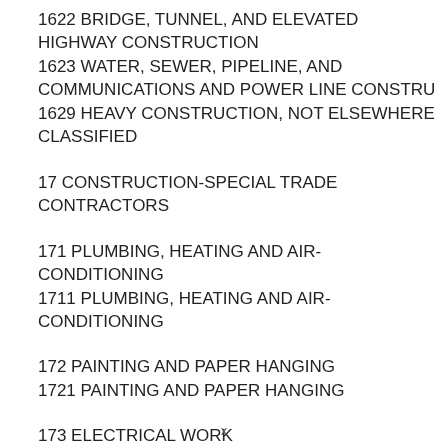1622 BRIDGE, TUNNEL, AND ELEVATED HIGHWAY CONSTRUCTION
1623 WATER, SEWER, PIPELINE, AND COMMUNICATIONS AND POWER LINE CONSTRU
1629 HEAVY CONSTRUCTION, NOT ELSEWHERE CLASSIFIED
17 CONSTRUCTION-SPECIAL TRADE CONTRACTORS
171 PLUMBING, HEATING AND AIR-CONDITIONING
1711 PLUMBING, HEATING AND AIR-CONDITIONING
172 PAINTING AND PAPER HANGING
1721 PAINTING AND PAPER HANGING
173 ELECTRICAL WORK
x